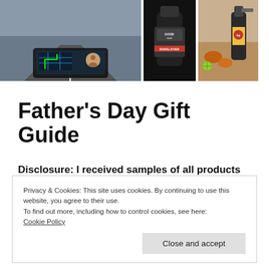[Figure (photo): Three product photos in a row: a car dashboard HUD navigation device, a bottle of Good Stuff Shavelather grooming product, and a spray bottle of hot sauce with food items]
Father's Day Gift Guide
Disclosure: I received samples of all products featured but all thoughts are my own.
Privacy & Cookies: This site uses cookies. By continuing to use this website, you agree to their use.
To find out more, including how to control cookies, see here:
Cookie Policy
Close and accept